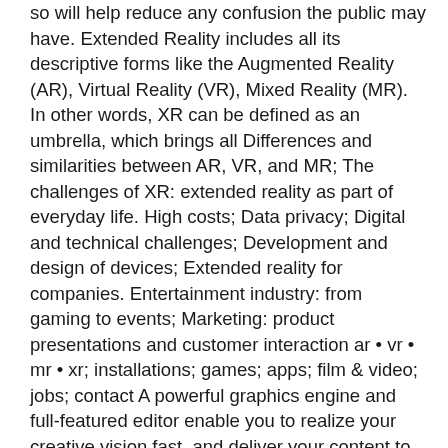so will help reduce any confusion the public may have. Extended Reality includes all its descriptive forms like the Augmented Reality (AR), Virtual Reality (VR), Mixed Reality (MR). In other words, XR can be defined as an umbrella, which brings all Differences and similarities between AR, VR, and MR; The challenges of XR: extended reality as part of everyday life. High costs; Data privacy; Digital and technical challenges; Development and design of devices; Extended reality for companies. Entertainment industry: from gaming to events; Marketing: product presentations and customer interaction ar • vr • mr • xr; installations; games; apps; film & video; jobs; contact A powerful graphics engine and full-featured editor enable you to realize your creative vision fast, and deliver your content to virtually any media or device.